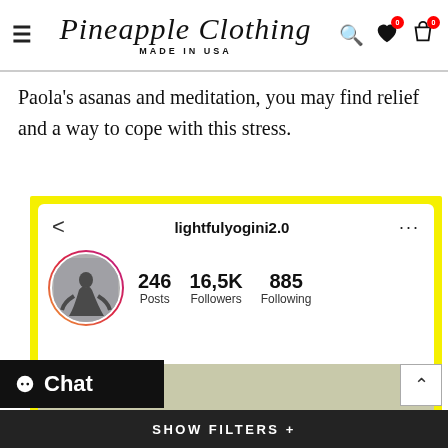Pineapple Clothing MADE IN USA
Paola's asanas and meditation, you may find relief and a way to cope with this stress.
[Figure (screenshot): Instagram profile screenshot of @lightfulyogini2.0 showing 246 Posts, 16,5K Followers, 885 Following, with a yoga pose avatar inside an Instagram gradient ring, and a partial content image below. Screenshot set inside a yellow-bordered frame.]
Chat
SHOW FILTERS +